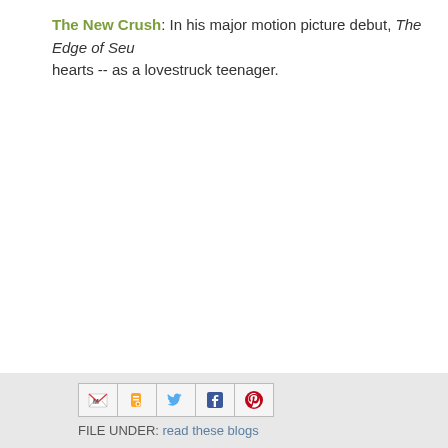The New Crush: In his major motion picture debut, The Edge of Se... hearts -- as a lovestruck teenager.
[Figure (other): Social sharing icons: Gmail, Blogger, Twitter, Facebook, Pinterest]
FILE UNDER: read these blogs